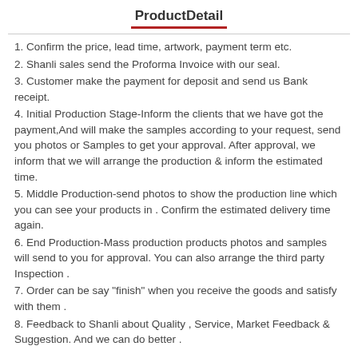ProductDetail
1. Confirm the price, lead time, artwork, payment term etc.
2. Shanli sales send the Proforma Invoice with our seal.
3. Customer make the payment for deposit and send us Bank receipt.
4. Initial Production Stage-Inform the clients that we have got the payment,And will make the samples according to your request, send you photos or Samples to get your approval. After approval, we inform that we will arrange the production & inform the estimated time.
5. Middle Production-send photos to show the production line which you can see your products in . Confirm the estimated delivery time again.
6. End Production-Mass production products photos and samples will send to you for approval. You can also arrange the third party Inspection .
7. Order can be say "finish" when you receive the goods and satisfy with them .
8. Feedback to Shanli about Quality , Service, Market Feedback & Suggestion. And we can do better .